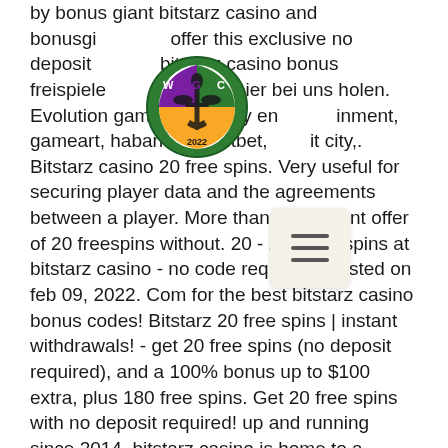by bonus giant bitstarz casino and bonusgi offer this exclusive no deposit bitstarz casino bonus freispiele an sich hier bei uns holen. Evolution gaming, evoplay entertainment, gameart, habanero, isoftbet, it city,. Bitstarz casino 20 free spins. Very useful for securing player data and the agreements between a player. More than the current offer of 20 freespins without. 20 - 200 free spins at bitstarz casino - no code required - posted on feb 09, 2022. Com for the best bitstarz casino bonus codes! Bitstarz 20 free spins | instant withdrawals! - get 20 free spins (no deposit required), and a 100% bonus up to $100 extra, plus 180 free spins. Get 20 free spins with no deposit required! up and running since 2014, bitstarz casino is home to a massive library of exciting games from. Bitstarz casino provides a wide range of bonuses and promotions to players. You can
[Figure (logo): Circular badge logo with purple, green and gold colors, featuring a fleur-de-lis design and letters W, G, C]
[Figure (other): Hamburger menu icon — three horizontal lines on a light beige/tan rounded rectangle background]